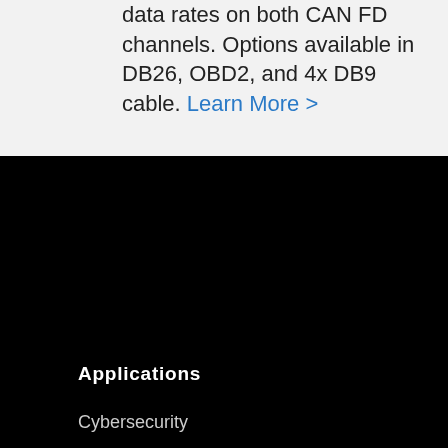data rates on both CAN FD channels. Options available in DB26, OBD2, and 4x DB9 cable. Learn More >
Applications
Cybersecurity
Autonomy
Connected Car / V2X / Telematics
Electric Vehicles
View/Analyze Network Data
Data Logging